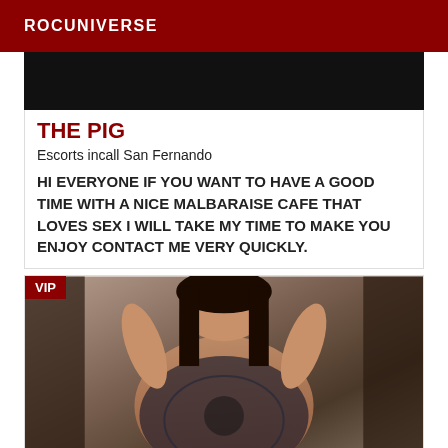ROCUNIVERSE
[Figure (photo): Dark/black image at top of listing card]
THE PIG
Escorts incall San Fernando
HI EVERYONE IF YOU WANT TO HAVE A GOOD TIME WITH A NICE MALBARAISE CAFE THAT LOVES SEX I WILL TAKE MY TIME TO MAKE YOU ENJOY CONTACT ME VERY QUICKLY.
[Figure (photo): Photo of a woman in black lace lingerie with VIP badge overlay]